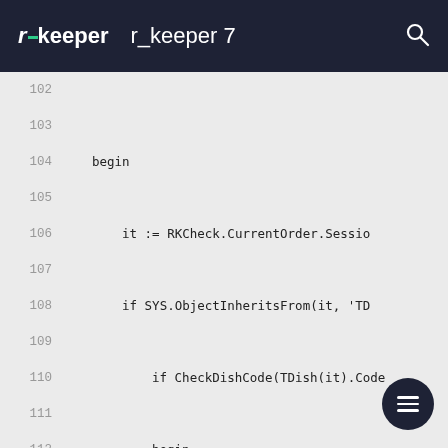r_keeper   r_keeper 7
102
103
104    begin
105
106        it := RKCheck.CurrentOrder.Sessio
107
108        if SYS.ObjectInheritsFrom(it, 'TD
109
110            if CheckDishCode(TDish(it).Code
111
112            begin
113
114                // checking by Consumators
115
116                if TDish(it).Consumators.Co
117